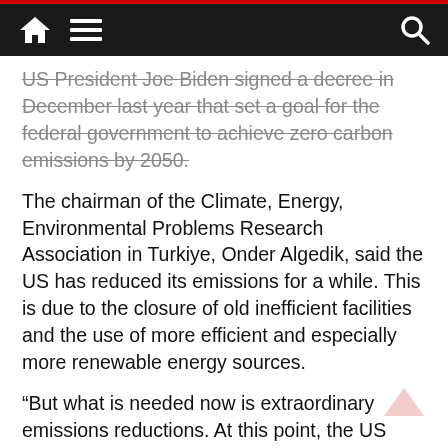Navigation bar with home, menu, and search icons
US President Joe Biden signed a decree in December last year that set a goal for the federal government to achieve zero carbon emissions by 2050.
The chairman of the Climate, Energy, Environmental Problems Research Association in Turkiye, Onder Algedik, said the US has reduced its emissions for a while. This is due to the closure of old inefficient facilities and the use of more efficient and especially more renewable energy sources.
“But what is needed now is extraordinary emissions reductions. At this point, the US needs to be a little more compelling, but how consistent the US is in this regard is also a matter of debate,” Algedik added.